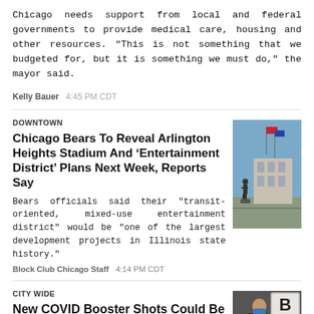Chicago needs support from local and federal governments to provide medical care, housing and other resources. "This is not something that we budgeted for, but it is something we must do," the mayor said.
Kelly Bauer   4:45 PM CDT
DOWNTOWN
Chicago Bears To Reveal Arlington Heights Stadium And 'Entertainment District' Plans Next Week, Reports Say
Bears officials said their "transit-oriented, mixed-use entertainment district" would be "one of the largest development projects in Illinois state history."
Block Club Chicago Staff   4:14 PM CDT
[Figure (photo): Outdoor photo showing a statue and building with flags at Arlington Heights]
CITY WIDE
New COVID Booster Shots Could Be In Chicago By Tuesday — And Could Finally Go Up (Around) 24 To Most If To
[Figure (photo): Photo of a person receiving a COVID booster shot, with a Block Club Chicago logo overlay]